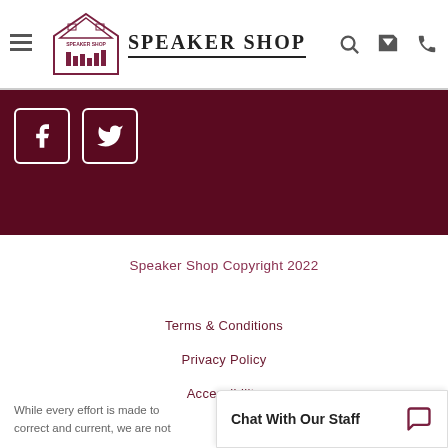Speaker Shop
[Figure (logo): Speaker Shop logo with house/store building illustration and SPEAKER SHOP text]
[Figure (infographic): Dark maroon banner with Facebook and Twitter social media icon buttons]
Speaker Shop Copyright 2022
Terms & Conditions
Privacy Policy
Accessibility
While every effort is made to correct and current, we are not
Chat With Our Staff